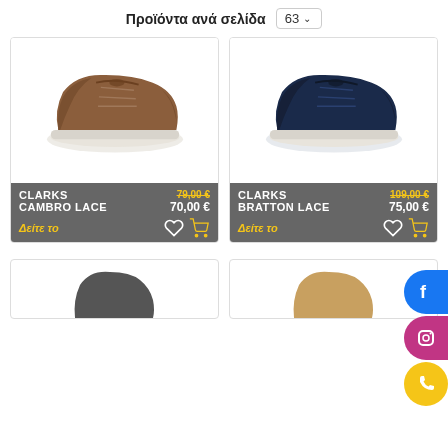Προϊόντα ανά σελίδα  63
[Figure (photo): Brown leather Clarks Cambro Lace casual shoe with white sole]
CLARKS
CAMBRO LACE
79,00 €
70,00 €
Δείτε το
[Figure (photo): Navy blue leather Clarks Bratton Lace casual shoe with white sole]
CLARKS
BRATTON LACE
109,00 €
75,00 €
Δείτε το
[Figure (photo): Partial view of a shoe at the bottom left]
[Figure (photo): Partial view of a shoe at the bottom right]